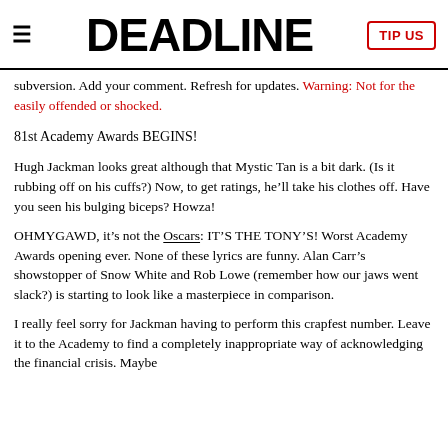DEADLINE
subversion. Add your comment. Refresh for updates. Warning: Not for the easily offended or shocked.
81st Academy Awards BEGINS!
Hugh Jackman looks great although that Mystic Tan is a bit dark. (Is it rubbing off on his cuffs?) Now, to get ratings, he’ll take his clothes off. Have you seen his bulging biceps? Howza!
OHMYGAWD, it’s not the Oscars: IT’S THE TONY’S! Worst Academy Awards opening ever. None of these lyrics are funny. Alan Carr’s showstopper of Snow White and Rob Lowe (remember how our jaws went slack?) is starting to look like a masterpiece in comparison.
I really feel sorry for Jackman having to perform this crapfest number. Leave it to the Academy to find a completely inappropriate way of acknowledging the financial crisis. Maybe